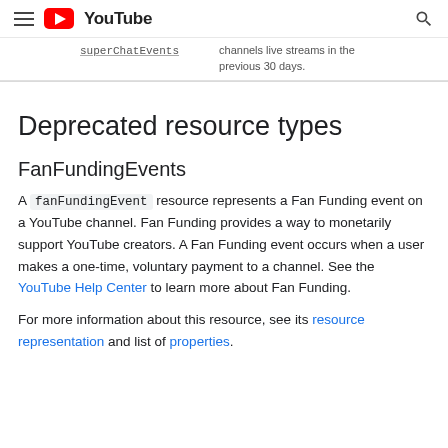YouTube
superChatEvents  channels live streams in the previous 30 days.
Deprecated resource types
FanFundingEvents
A fanFundingEvent resource represents a Fan Funding event on a YouTube channel. Fan Funding provides a way to monetarily support YouTube creators. A Fan Funding event occurs when a user makes a one-time, voluntary payment to a channel. See the YouTube Help Center to learn more about Fan Funding.
For more information about this resource, see its resource representation and list of properties.